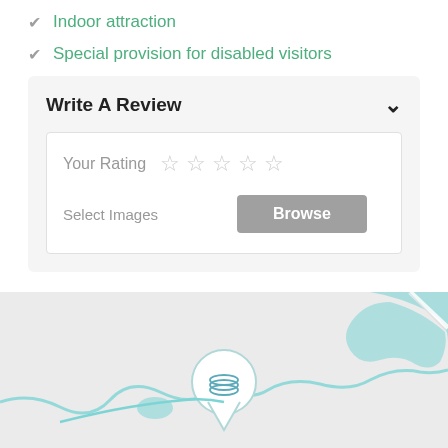Indoor attraction
Special provision for disabled visitors
Write A Review
Your Rating ☆ ☆ ☆ ☆ ☆
Select Images   Browse
[Figure (map): A map showing a geographic area with light blue water bodies and road paths, with a location pin marker in the center containing a layers icon.]